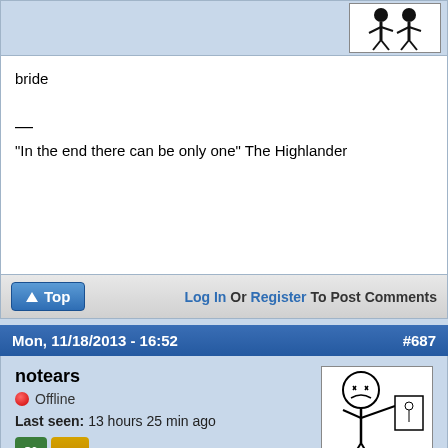[Figure (illustration): Top avatar area with a small illustration of figures, shown in top-right corner]
bride

—

"In the end there can be only one" The Highlander
Top | Log In Or Register To Post Comments
Mon, 11/18/2013 - 16:52   #687
notears
Offline
Last seen: 13 hours 25 min ago
[Figure (illustration): Meme-style stick figure illustration with rage face]